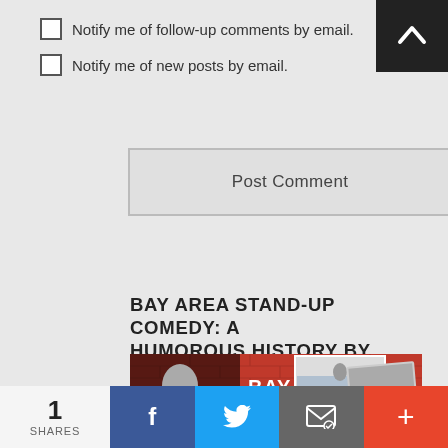Notify me of follow-up comments by email.
Notify me of new posts by email.
Post Comment
BAY AREA STAND-UP COMEDY: A HUMOROUS HISTORY BY NINA G AND OJ PATTERSON
[Figure (photo): Book cover for Bay Area Stand-Up Comedy showing performers against a red brick wall background with historical photos]
1 SHARES | Facebook | Twitter | Email | More